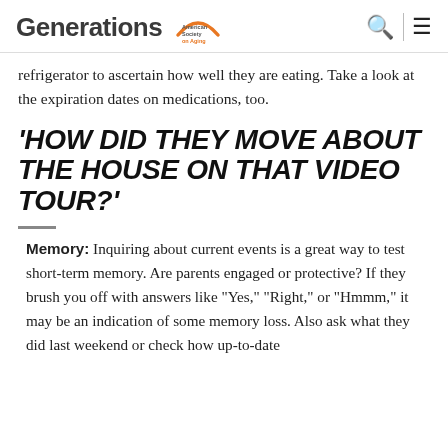Generations | American Society on Aging
refrigerator to ascertain how well they are eating. Take a look at the expiration dates on medications, too.
'HOW DID THEY MOVE ABOUT THE HOUSE ON THAT VIDEO TOUR?'
Memory: Inquiring about current events is a great way to test short-term memory. Are parents engaged or protective? If they brush you off with answers like “Yes,” “Right,” or “Hmmm,” it may be an indication of some memory loss. Also ask what they did last weekend or check how up-to-date